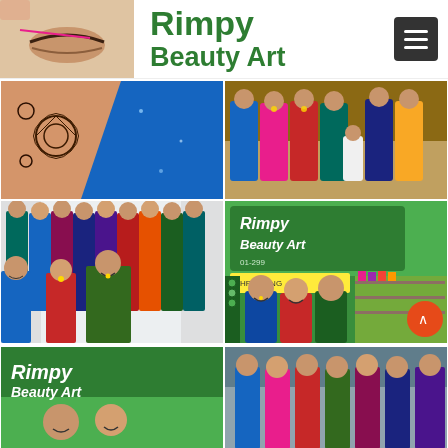[Figure (logo): Rimpy Beauty Art website header with logo image of woman with eyebrow threading, brand name in green text, and hamburger menu button]
[Figure (photo): Close-up of hand with henna/mehndi design on blue glitter background]
[Figure (photo): Group of women in colorful Indian traditional attire]
[Figure (photo): Group selfie of women in Indian traditional outfits at an event]
[Figure (photo): Rimpy Beauty Art storefront showing green signage with threading and beauty services, two women staff smiling]
[Figure (photo): Partial view bottom left – Rimpy Beauty Art signage]
[Figure (photo): Partial view bottom right – people at beauty event]